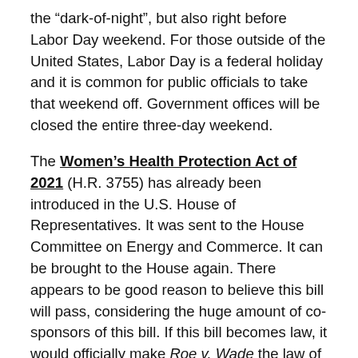the “dark-of-night”, but also right before Labor Day weekend. For those outside of the United States, Labor Day is a federal holiday and it is common for public officials to take that weekend off. Government offices will be closed the entire three-day weekend.
The Women’s Health Protection Act of 2021 (H.R. 3755) has already been introduced in the U.S. House of Representatives. It was sent to the House Committee on Energy and Commerce. It can be brought to the House again. There appears to be good reason to believe this bill will pass, considering the huge amount of co-sponsors of this bill. If this bill becomes law, it would officially make Roe v. Wade the law of the land.
Part of the writing in the bill states: “This Act shall take effect immediately upon the date of enactment of this Act. This Act shall apply to all restrictions of the provision of, or access to, abortion services whether the restriction are enacted or